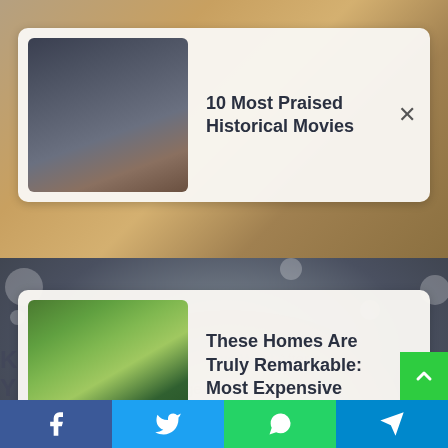[Figure (screenshot): Background image showing blurred faces/people at top and blurred person's head at bottom]
10 Most Praised Historical Movies
These Homes Are Truly Remarkable: Most Expensive Celebrity Houses
[Figure (screenshot): Green scroll-to-top button and social media share bar with Facebook, Twitter, WhatsApp, and Telegram buttons]